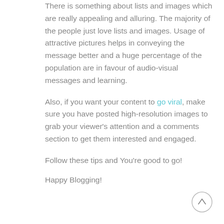There is something about lists and images which are really appealing and alluring. The majority of the people just love lists and images. Usage of attractive pictures helps in conveying the message better and a huge percentage of the population are in favour of audio-visual messages and learning.
Also, if you want your content to go viral, make sure you have posted high-resolution images to grab your viewer's attention and a comments section to get them interested and engaged.
Follow these tips and You're good to go!
Happy Blogging!